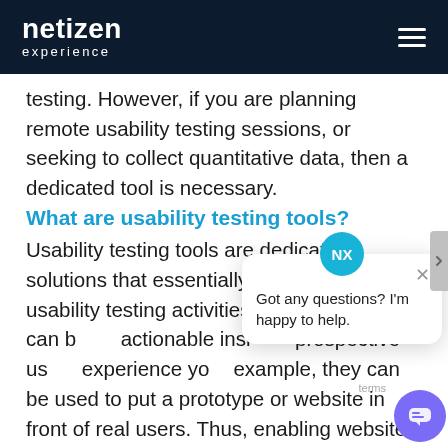netizen experience
testing. However, if you are planning remote usability testing sessions, or seeking to collect quantitative data, then a dedicated tool is necessary.
What are usability testing tools?
Usability testing tools are dedicated solutions that essentially streamline usability testing activities. These solutions can be used to provide actionable insights into how prospective users interact and experience your product. For example, they can be used to put a prototype or website in front of real users. Thus, enabling website owners to analyse how users accomplish a
[Figure (screenshot): Chat popup widget with NX avatar icon in teal, close button, and message 'Got any questions? I'm happy to help.' with purple chat button in corner]